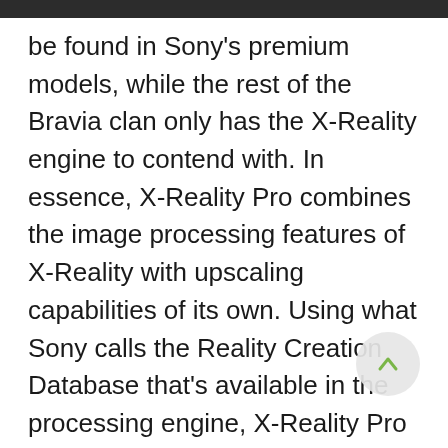be found in Sony's premium models, while the rest of the Bravia clan only has the X-Reality engine to contend with. In essence, X-Reality Pro combines the image processing features of X-Reality with upscaling capabilities of its own. Using what Sony calls the Reality Creation Database that's available in the processing engine, X-Reality Pro is supposedly able to enhance low-quality video content to HD-like standards as well. Sony claims it is possible to achieve this by analyzing the source and comparing each frame at the pixel level with the TV's "built-in library". We were impressed with the demos shown of its capabilities in CES 2011, but as usual we would like to pass thorough judgement from testing with our preferred video